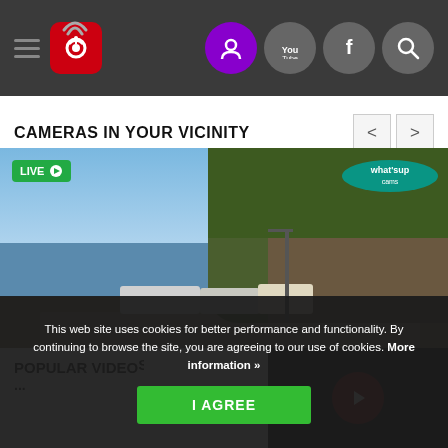Navigation header with hamburger menu, camera logo, and social/search icons
CAMERAS IN YOUR VICINITY
[Figure (screenshot): Live webcam feed showing a coastal road with vehicles, a cliff with dense green trees, and calm water. LIVE badge with play icon in top-left. whatsupcams.com watermark in top-right.]
This web site uses cookies for better performance and functionality. By continuing to browse the site, you are agreeing to our use of cookies. More information »
I AGREE
POPULAR VIDEOS